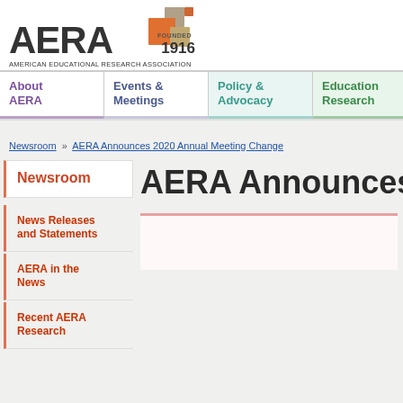[Figure (logo): AERA logo with colored block squares and 'FOUNDED 1916' text]
AMERICAN EDUCATIONAL RESEARCH ASSOCIATION
About AERA | Events & Meetings | Policy & Advocacy | Education Research
Newsroom » AERA Announces 2020 Annual Meeting Change
Newsroom
AERA Announces 20
News Releases and Statements
AERA in the News
Recent AERA Research